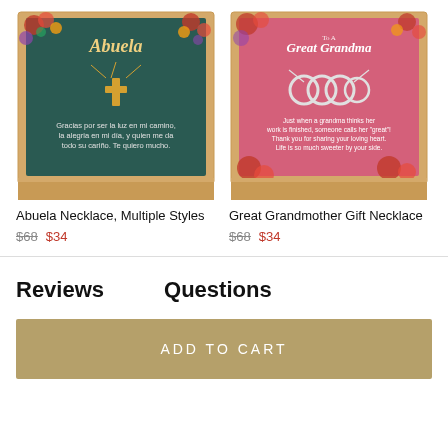[Figure (photo): Abuela Necklace product in gift box with dark teal background, floral decoration, gold cross necklace, Spanish message text]
Abuela Necklace, Multiple Styles
$68  $34
[Figure (photo): Great Grandmother Gift Necklace in gift box with pink background, floral decoration, interlocking circles necklace, inspirational message text]
Great Grandmother Gift Necklace
$68  $34
Reviews
Questions
ADD TO CART